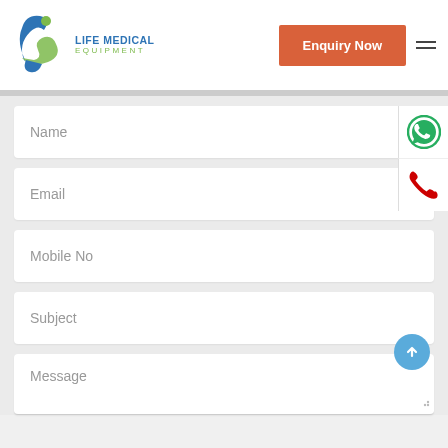[Figure (logo): Life Medical Equipment logo with stylized blue and green figure, blue text 'LIFE MEDICAL' and green text 'EQUIPMENT']
Enquiry Now
Name
Email
Mobile No
Subject
Message